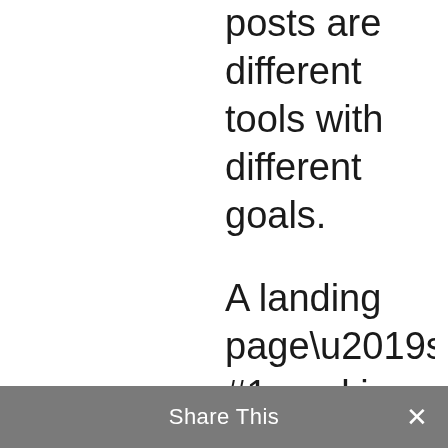posts are different tools with different goals.
A landing page’s #1 goal is conversion. A blog post’s #1 goal is to provide value and, if being used for SEO, to rank for a specific term.
In some cases, if competition is low enough, you can
Share This ×